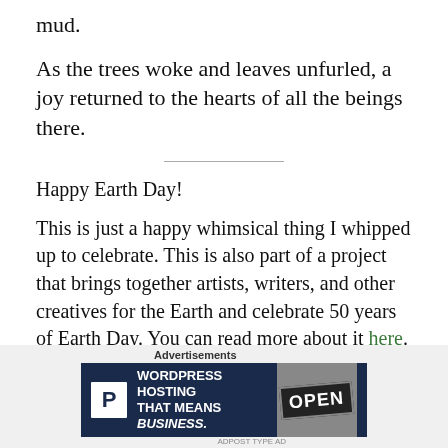mud.
As the trees woke and leaves unfurled, a joy returned to the hearts of all the beings there.
Happy Earth Day!
This is just a happy whimsical thing I whipped up to celebrate. This is also part of a project that brings together artists, writers, and other creatives for the Earth and celebrate 50 years of Earth Day. You can read more about it here.
[Figure (infographic): Advertisement banner for WordPress Hosting with 'WORDPRESS HOSTING THAT MEANS BUSINESS.' text and an OPEN sign photo]
Advertisements